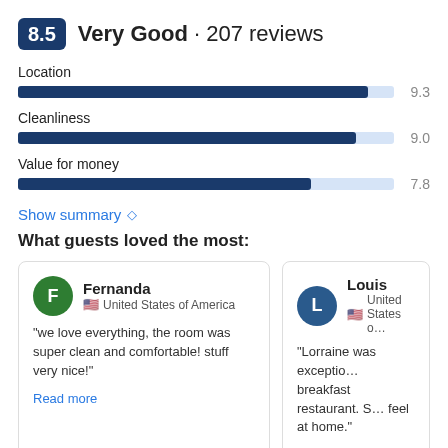8.5 Very Good · 207 reviews
[Figure (bar-chart): Ratings]
Show summary ◇
What guests loved the most:
Fernanda
United States of America
"we love everything, the room was super clean and comfortable! stuff very nice!"
Read more
Louis
United States of America
"Lorraine was exceptio... breakfast restaurant. S... feel at home."
Read more